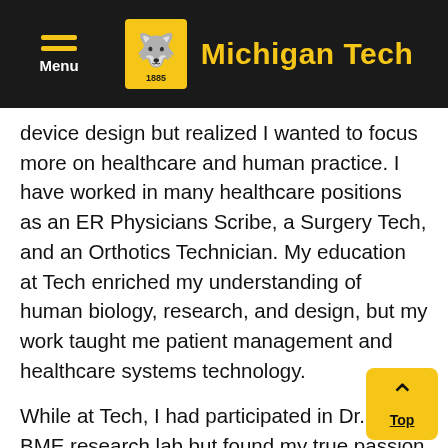Michigan Tech
device design but realized I wanted to focus more on healthcare and human practice. I have worked in many healthcare positions as an ER Physicians Scribe, a Surgery Tech, and an Orthotics Technician. My education at Tech enriched my understanding of human biology, research, and design, but my work taught me patient management and healthcare systems technology.
While at Tech, I had participated in Dr. Ongs' BME research lab but found my true passion on the AAA Prosthetic Enterprise Team. Over 4 years our team addressed the challenge of affordable accessible prosthetic devices. I used my 8 semesters of